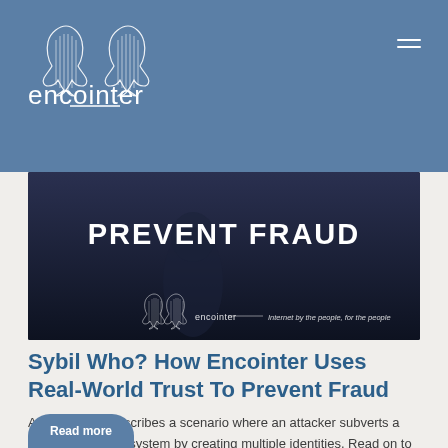encointer
[Figure (photo): Dark banner image with text 'PREVENT FRAUD' in large white letters, encointer logo and tagline at bottom]
Sybil Who? How Encointer Uses Real-World Trust To Prevent Fraud
A Sybil attack describes a scenario where an attacker subverts a reputation-based system by creating multiple identities. Read on to discover how Encointer uses a real-world web of trust to…